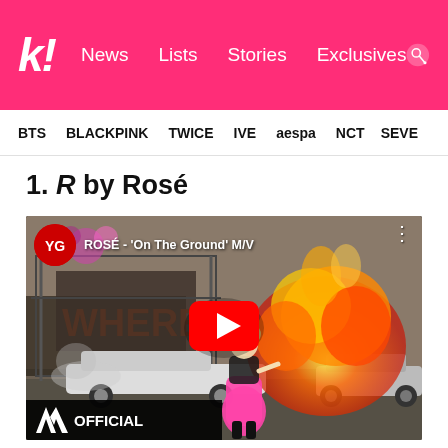k! News  Lists  Stories  Exclusives
BTS  BLACKPINK  TWICE  IVE  aespa  NCT  SEVE
1. R by Rosé
[Figure (screenshot): YouTube video thumbnail for ROSÉ - 'On The Ground' M/V by YG OFFICIAL. Shows Rosé in a pink dress standing in front of a large explosion on a street. YouTube play button overlay in center.]